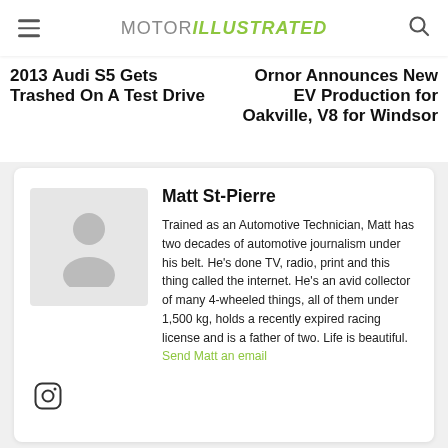MOTOR ILLUSTRATED
2013 Audi S5 Gets Trashed On A Test Drive
Ornor Announces New EV Production for Oakville, V8 for Windsor
Matt St-Pierre
Trained as an Automotive Technician, Matt has two decades of automotive journalism under his belt. He's done TV, radio, print and this thing called the internet. He's an avid collector of many 4-wheeled things, all of them under 1,500 kg, holds a recently expired racing license and is a father of two. Life is beautiful. Send Matt an email